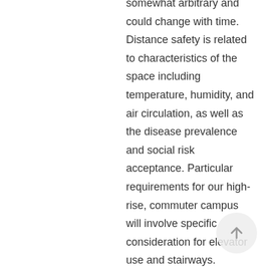somewhat arbitrary and could change with time. Distance safety is related to characteristics of the space including temperature, humidity, and air circulation, as well as the disease prevalence and social risk acceptance. Particular requirements for our high-rise, commuter campus will involve specific consideration for elevator use and stairways.
Surveillance of transmission:
Screening—symptom assessment and reporting
Testing—at this point, there seem to be two basic options a) testing every person at regular intervals; b) testing with adequate sampling.
Contact tracing—along with a